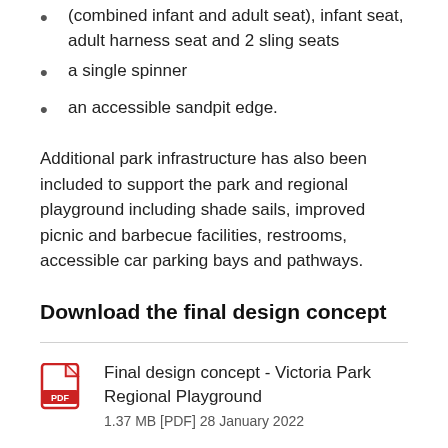(combined infant and adult seat), infant seat, adult harness seat and 2 sling seats
a single spinner
an accessible sandpit edge.
Additional park infrastructure has also been included to support the park and regional playground including shade sails, improved picnic and barbecue facilities, restrooms, accessible car parking bays and pathways.
Download the final design concept
Final design concept - Victoria Park Regional Playground
1.37 MB [PDF] 28 January 2022